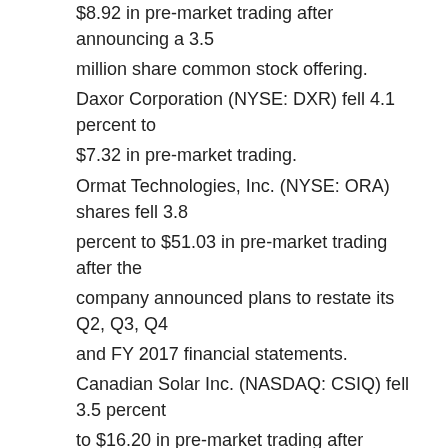$8.92 in pre-market trading after announcing a 3.5 million share common stock offering. Daxor Corporation (NYSE: DXR) fell 4.1 percent to $7.32 in pre-market trading. Ormat Technologies, Inc. (NYSE: ORA) shares fell 3.8 percent to $51.03 in pre-market trading after the company announced plans to restate its Q2, Q3, Q4 and FY 2017 financial statements. Canadian Solar Inc. (NASDAQ: CSIQ) fell 3.5 percent to $16.20 in pre-market trading after reporting Q1 results. CELYAD SA/ADR (NASDAQ: CYAD) shares fell 3.3 percent to $29.70 in pre-market trading after the company reported launch of 1.8 million share offering
Hot Clean Energy Stocks To Invest In 2019: Valhi Inc.(VHI)
Advisors' Opinion: